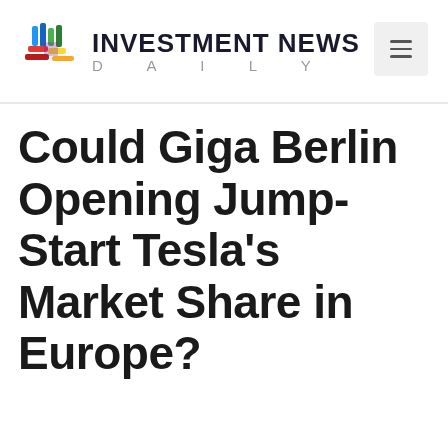[Figure (logo): Investment News Daily logo with colorful cross/woven icon and bold text]
Could Giga Berlin Opening Jump-Start Tesla's Market Share in Europe?